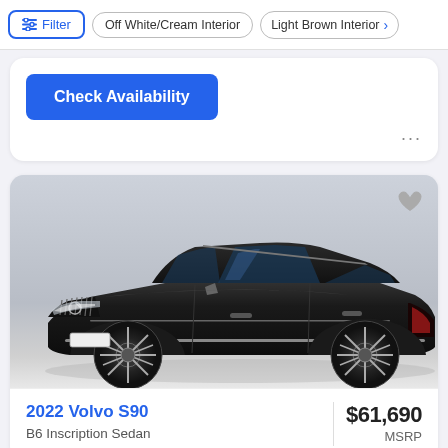Filter | Off White/Cream Interior | Light Brown Interior
Check Availability
[Figure (photo): Black 2022 Volvo S90 B6 Inscription Sedan photographed in three-quarter front view against a light grey gradient background]
2022 Volvo S90
B6 Inscription Sedan
$61,690
MSRP